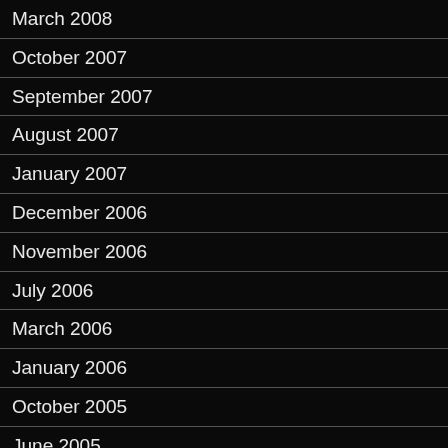March 2008
October 2007
September 2007
August 2007
January 2007
December 2006
November 2006
July 2006
March 2006
January 2006
October 2005
June 2005
April 2005